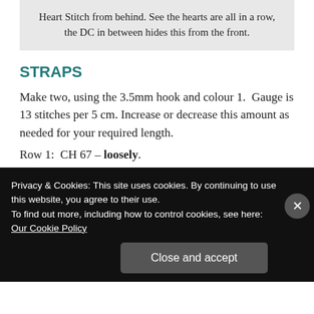Heart Stitch from behind. See the hearts are all in a row, the DC in between hides this from the front.
STRAPS
Make two, using the 3.5mm hook and colour 1.  Gauge is 13 stitches per 5 cm.  Increase or decrease this amount as needed for your required length.
Row 1:  CH 67 – loosely.
Row 2:  SC into the 3rd stitch from the hook, CH1, Skip 1, SC into the next
Privacy & Cookies: This site uses cookies. By continuing to use this website, you agree to their use.
To find out more, including how to control cookies, see here: Our Cookie Policy
Close and accept